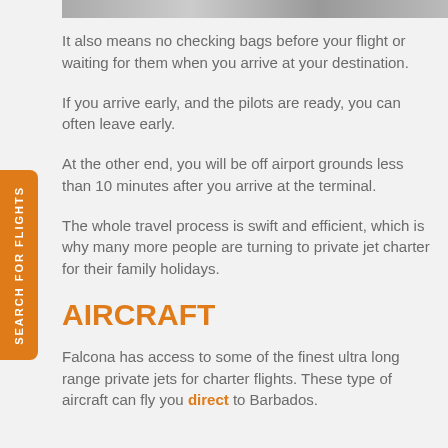[Figure (photo): Partial photo strip at top of page showing interior/exterior of private jet or airport]
It also means no checking bags before your flight or waiting for them when you arrive at your destination.
If you arrive early, and the pilots are ready, you can often leave early.
At the other end, you will be off airport grounds less than 10 minutes after you arrive at the terminal.
The whole travel process is swift and efficient, which is why many more people are turning to private jet charter for their family holidays.
AIRCRAFT
Falcona has access to some of the finest ultra long range private jets for charter flights. These type of aircraft can fly you direct to Barbados.